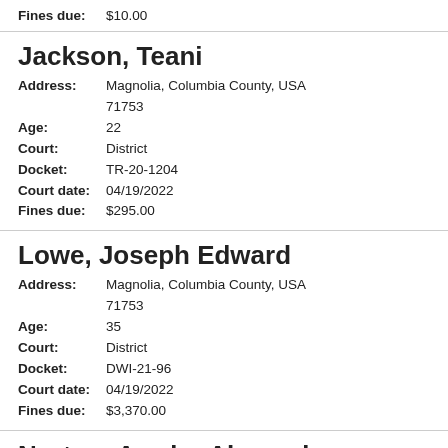Fines due: $10.00
Jackson, Teani
Address: Magnolia, Columbia County, USA 71753
Age: 22
Court: District
Docket: TR-20-1204
Court date: 04/19/2022
Fines due: $295.00
Lowe, Joseph Edward
Address: Magnolia, Columbia County, USA 71753
Age: 35
Court: District
Docket: DWI-21-96
Court date: 04/19/2022
Fines due: $3,370.00
Norton, Arndra Alexander
Address: Emerson, Columbia County, USA 71740